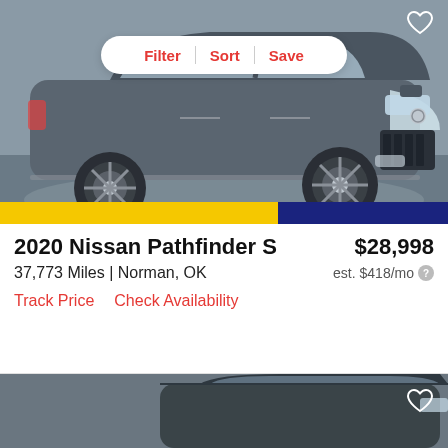[Figure (photo): Gray 2020 Nissan Pathfinder SUV on a vehicle photography turntable in a studio setting with gray background, front three-quarter view. A Filter/Sort/Save toolbar overlaid at top center, and a heart icon at top right.]
Filter  Sort  Save
2020 Nissan Pathfinder S
$28,998
37,773 Miles | Norman, OK
est. $418/mo
Track Price
Check Availability
[Figure (photo): Partial view of a second vehicle listing below, showing the top portion of a dark-colored SUV in a studio setting, partially cropped.]